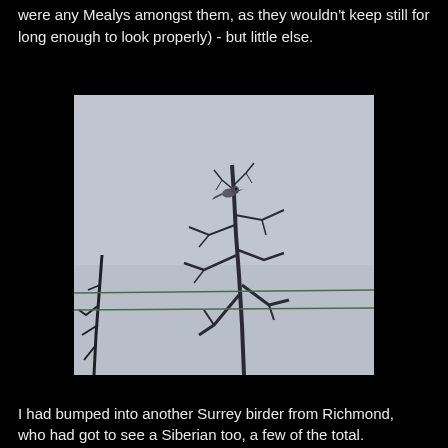were any Mealys amongst them, as they wouldn't keep still for long enough to look properly) - but little else.
[Figure (photo): A bird perched on top of a bare winter tree with branches, against a grey overcast sky. Two horizontal wires or cables cross the image in the lower portion.]
I had bumped into another Surrey birder from Richmond, who had got to see a Siberian too, a few of the total.